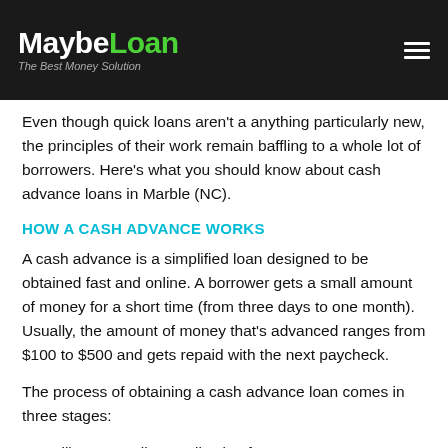MaybeLoan — The Best Money Solution
Even though quick loans aren't a anything particularly new, the principles of their work remain baffling to a whole lot of borrowers. Here's what you should know about cash advance loans in Marble (NC).
HOW A CASH ADVANCE WORKS
A cash advance is a simplified loan designed to be obtained fast and online. A borrower gets a small amount of money for a short time (from three days to one month). Usually, the amount of money that's advanced ranges from $100 to $500 and gets repaid with the next paycheck.
The process of obtaining a cash advance loan comes in three stages:
Fill out an online application form;